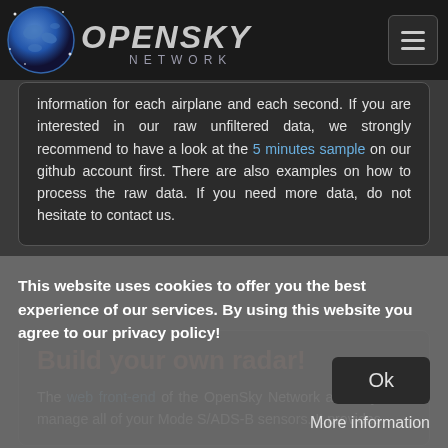OpenSky Network
information for each airplane and each second. If you are interested in our raw unfiltered data, we strongly recommend to have a look at the 5 minutes sample on our github account first. There are also examples on how to process the raw data. If you need more data, do not hesitate to contact us.
Build your own radar!
The web front-end of the OpenSky Network allows you to manage all of your Mode S/ADS-B sensors. It provides
This website uses cookies to offer you the best experience of our services. By using this website you agree to our privacy policy!